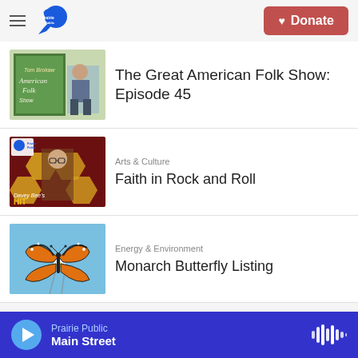Prairie Public — Donate
[Figure (photo): Thumbnail for The Great American Folk Show Episode 45 — book cover and person sitting]
The Great American Folk Show: Episode 45
[Figure (photo): Thumbnail for Faith in Rock and Roll — Davey Bee's Hit show, man with glasses on dark honeycomb background with Prairie Public logo]
Arts & Culture
Faith in Rock and Roll
[Figure (photo): Thumbnail for Monarch Butterfly Listing — monarch butterfly on flower with blue background]
Energy & Environment
Monarch Butterfly Listing
Prairie Public — Main Street